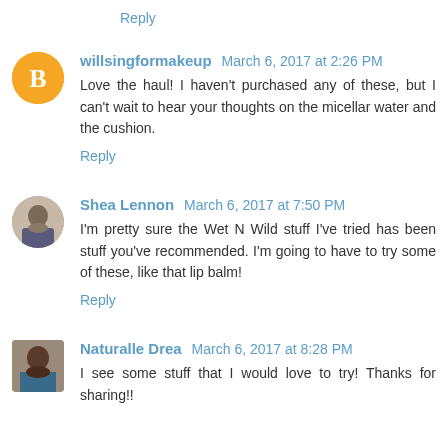Reply
willsingformakeup March 6, 2017 at 2:26 PM
Love the haul! I haven't purchased any of these, but I can't wait to hear your thoughts on the micellar water and the cushion.
Reply
Shea Lennon March 6, 2017 at 7:50 PM
I'm pretty sure the Wet N Wild stuff I've tried has been stuff you've recommended. I'm going to have to try some of these, like that lip balm!
Reply
Naturalle Drea March 6, 2017 at 8:28 PM
I see some stuff that I would love to try! Thanks for sharing!!